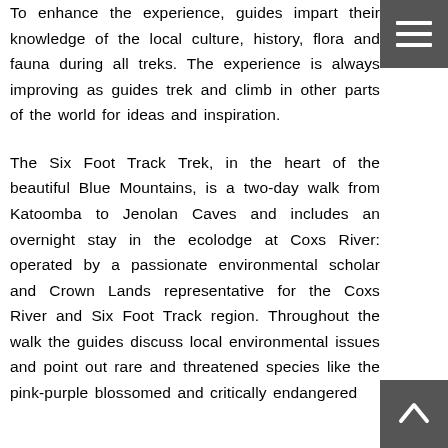To enhance the experience, guides impart their knowledge of the local culture, history, flora and fauna during all treks. The experience is always improving as guides trek and climb in other parts of the world for ideas and inspiration.
The Six Foot Track Trek, in the heart of the beautiful Blue Mountains, is a two-day walk from Katoomba to Jenolan Caves and includes an overnight stay in the ecolodge at Coxs River: operated by a passionate environmental scholar and Crown Lands representative for the Coxs River and Six Foot Track region. Throughout the walk the guides discuss local environmental issues and point out rare and threatened species like the pink-purple blossomed and critically endangered